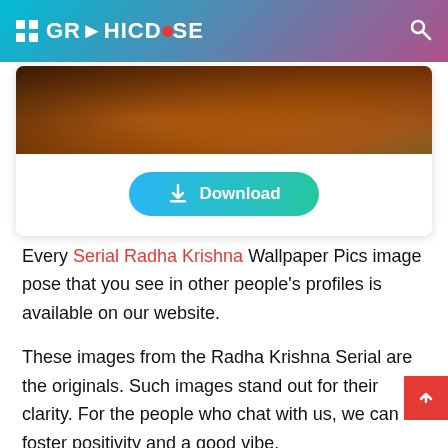GRAPHICDOSE
[Figure (screenshot): Partial image of a dark scene, likely from a show, with orange/brown tones]
[Figure (other): Download button with gradient background (blue to teal) and download icon]
Every Serial Radha Krishna Wallpaper Pics image pose that you see in other people's profiles is available on our website.
These images from the Radha Krishna Serial are the originals. Such images stand out for their clarity. For the people who chat with us, we can foster positivity and a good vibe.